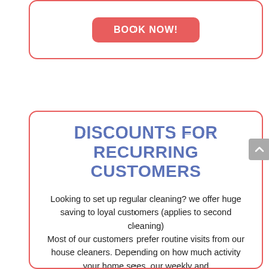[Figure (other): A card with a red rounded border containing a red 'BOOK NOW!' button]
DISCOUNTS FOR RECURRING CUSTOMERS
Looking to set up regular cleaning? we offer huge saving to loyal customers (applies to second cleaning)
Most of our customers prefer routine visits from our house cleaners. Depending on how much activity your home sees, our weekly and